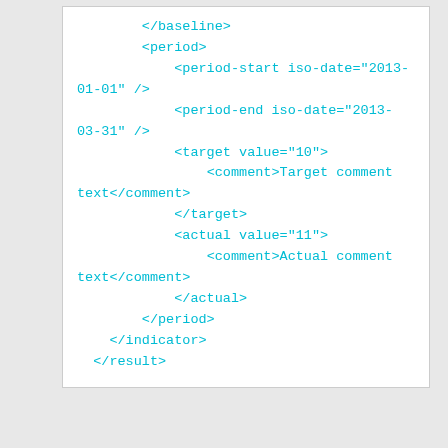</baseline>
    <period>
        <period-start iso-date="2013-01-01" />
            <period-end iso-date="2013-03-31" />
            <target value="10">
                <comment>Target comment text</comment>
            </target>
            <actual value="11">
                <comment>Actual comment text</comment>
            </actual>
    </period>
    </indicator>
  </result>